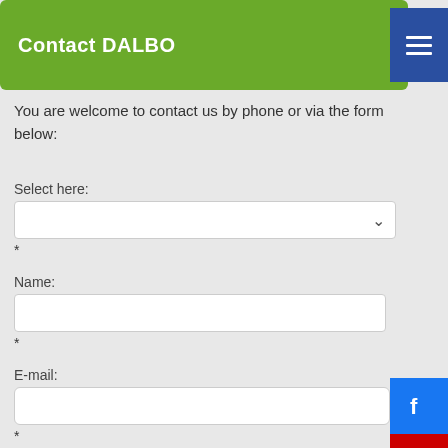Contact DALBO
You are welcome to contact us by phone or via the form below:
Select here:
*
Name:
*
E-mail:
*
Telephone:
*